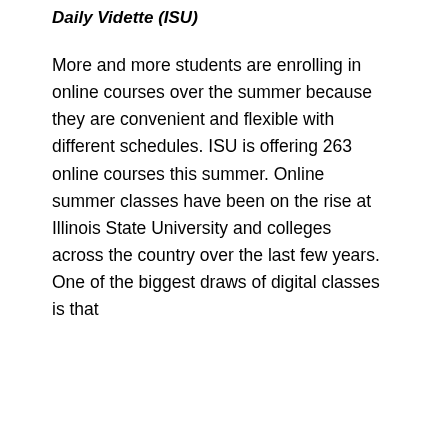Daily Vidette (ISU)
More and more students are enrolling in online courses over the summer because they are convenient and flexible with different schedules. ISU is offering 263 online courses this summer. Online summer classes have been on the rise at Illinois State University and colleges across the country over the last few years. One of the biggest draws of digital classes is that